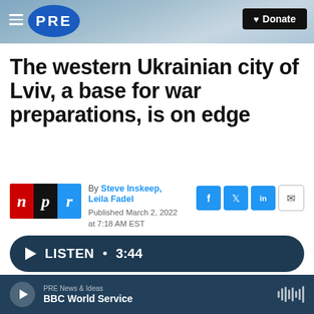PRE | Donate
The western Ukrainian city of Lviv, a base for war preparations, is on edge
By Steve Inskeep, Leila Fadel
Published March 2, 2022 at 7:18 AM EST
LISTEN • 3:44
PRE News & Ideas
BBC World Service